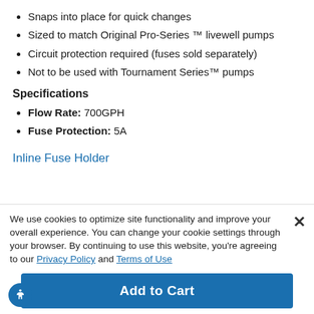Snaps into place for quick changes
Sized to match Original Pro-Series ™ livewell pumps
Circuit protection required (fuses sold separately)
Not to be used with Tournament Series™ pumps
Specifications
Flow Rate: 700GPH
Fuse Protection: 5A
Inline Fuse Holder
We use cookies to optimize site functionality and improve your overall experience. You can change your cookie settings through your browser. By continuing to use this website, you're agreeing to our Privacy Policy and Terms of Use
Add to Cart